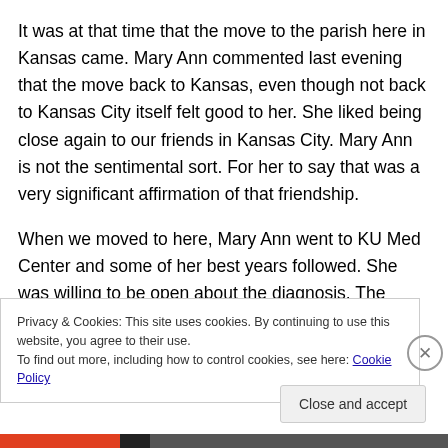It was at that time that the move to the parish here in Kansas came. Mary Ann commented last evening that the move back to Kansas, even though not back to Kansas City itself felt good to her. She liked being close again to our friends in Kansas City. Mary Ann is not the sentimental sort. For her to say that was a very significant affirmation of that friendship.
When we moved to here, Mary Ann went to KU Med Center and some of her best years followed. She was willing to be open about the diagnosis. The latest of the
Privacy & Cookies: This site uses cookies. By continuing to use this website, you agree to their use.
To find out more, including how to control cookies, see here: Cookie Policy